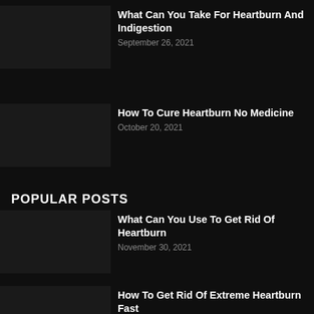What Can You Take For Heartburn And Indigestion
September 26, 2021
How To Cure Heartburn No Medicine
October 20, 2021
POPULAR POSTS
What Can You Use To Get Rid Of Heartburn
November 30, 2021
How To Get Rid Of Extreme Heartburn Fast